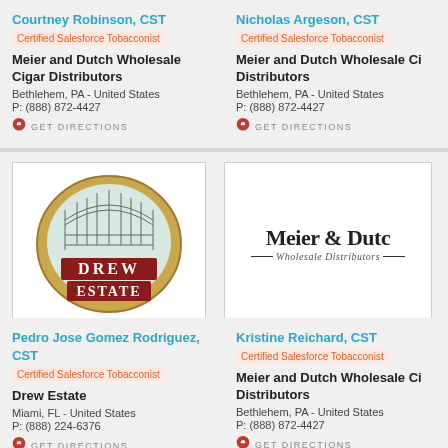Courtney Robinson, CST
Certified Salesforce Tobacconist
Meier and Dutch Wholesale Cigar Distributors
Bethlehem, PA - United States
P: (888) 872-4427
GET DIRECTIONS
Nicholas Argeson, CST
Certified Salesforce Tobacconist
Meier and Dutch Wholesale Ci Distributors
Bethlehem, PA - United States
P: (888) 872-4427
GET DIRECTIONS
[Figure (logo): Drew Estate cigar brand logo - circular design with bridge illustration and red DREW ESTATE text]
[Figure (logo): Meier & Dutch Wholesale Distributors logo - serif text on white background]
Pedro Jose Gomez Rodriguez, CST
Certified Salesforce Tobacconist
Drew Estate
Miami, FL - United States
P: (888) 224-6376
GET DIRECTIONS
Kristine Reichard, CST
Certified Salesforce Tobacconist
Meier and Dutch Wholesale Ci Distributors
Bethlehem, PA - United States
P: (888) 872-4427
GET DIRECTIONS